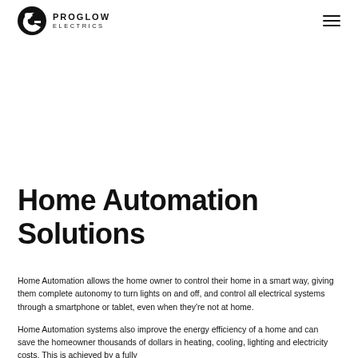[Figure (logo): Proglow Electrics company logo: black circle with stylised 'P' and 'G' letterform inside, company name PROGLOW ELECTRICS in bold capitals to the right]
Home Automation Solutions
Home Automation allows the home owner to control their home in a smart way, giving them complete autonomy to turn lights on and off, and control all electrical systems through a smartphone or tablet, even when they're not at home.
Home Automation systems also improve the energy efficiency of a home and can save the homeowner thousands of dollars in heating, cooling, lighting and electricity costs. This is achieved by a fully